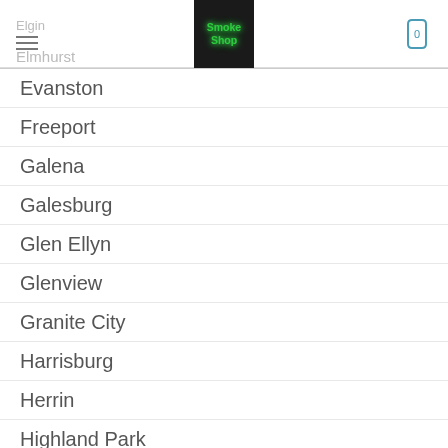Smoke Shop — navigation header with logo, menu icon, and cart
Evanston
Freeport
Galena
Galesburg
Glen Ellyn
Glenview
Granite City
Harrisburg
Herrin
Highland Park
Jacksonville
Joliet
Kankakee
Kaskaskia
Kewanee